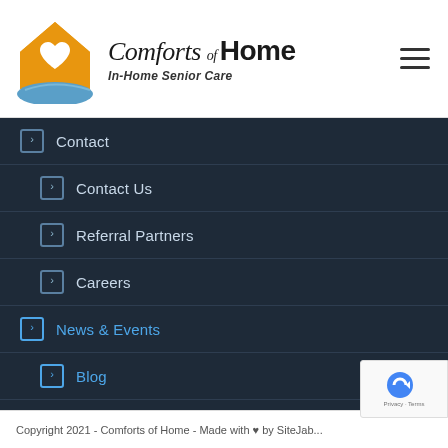[Figure (logo): Comforts of Home In-Home Senior Care logo with orange house, white heart, blue hand, and brand text]
> Contact
> Contact Us
> Referral Partners
> Careers
> News & Events
> Blog
Copyright 2021 - Comforts of Home - Made with ♥ by SiteJab...